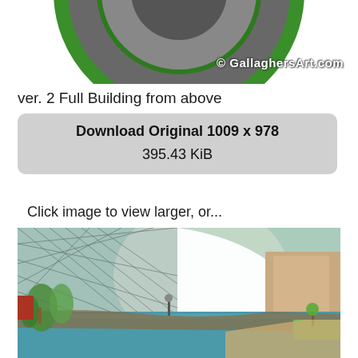[Figure (illustration): Partial view of a dark gray circular disk with green ring on top portion, cropped at top of page]
© GallaghersArt.com
ver. 2 Full Building from above
Download Original 1009 x 978
395.43 KiB
Click image to view larger, or...
[Figure (illustration): 3D architectural rendering showing interior/exterior view of a large domed building with lattice roof structure, waterway with teal-blue water, vegetation, and beige building walls]